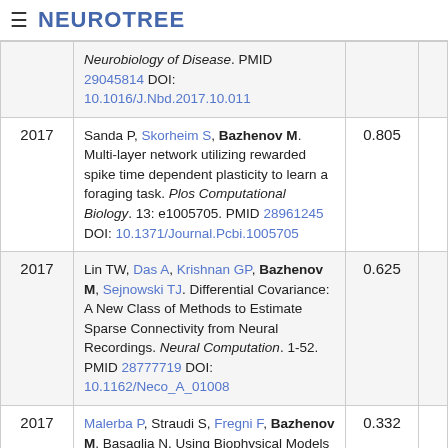≡ NEUROTREE
| Year | Reference | Score |  |
| --- | --- | --- | --- |
|  | Neurobiology of Disease. PMID 29045814 DOI: 10.1016/J.Nbd.2017.10.011 |  |  |
| 2017 | Sanda P, Skorheim S, Bazhenov M. Multi-layer network utilizing rewarded spike time dependent plasticity to learn a foraging task. Plos Computational Biology. 13: e1005705. PMID 28961245 DOI: 10.1371/Journal.Pcbi.1005705 | 0.805 |  |
| 2017 | Lin TW, Das A, Krishnan GP, Bazhenov M, Sejnowski TJ. Differential Covariance: A New Class of Methods to Estimate Sparse Connectivity from Neural Recordings. Neural Computation. 1-52. PMID 28777719 DOI: 10.1162/Neco_A_01008 | 0.625 |  |
| 2017 | Malerba P, Straudi S, Fregni F, Bazhenov M, Basaglia N. Using Biophysical Models to Understand the Effect of tDCS on Neurorehabilitation: Searching for Optimal Covariates to Enhance Poststroke Recovery | 0.332 |  |